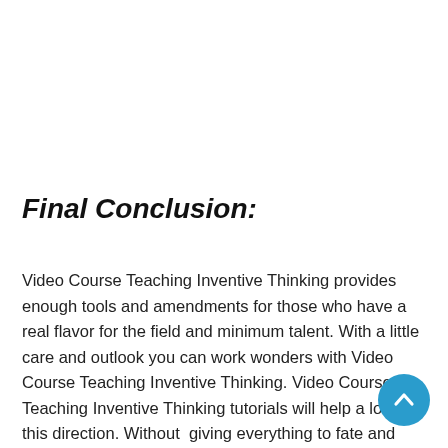Final Conclusion:
Video Course Teaching Inventive Thinking provides enough tools and amendments for those who have a real flavor for the field and minimum talent. With a little care and outlook you can work wonders with Video Course Teaching Inventive Thinking. Video Course Teaching Inventive Thinking tutorials will help a lot in this direction. Without giving everything to fate and chance, take a little initiative and excel in your field with the assistance of Video Course Teaching Inventive Thinking. As it is risk-free, you have nothing to lose and at the same time a lot to...